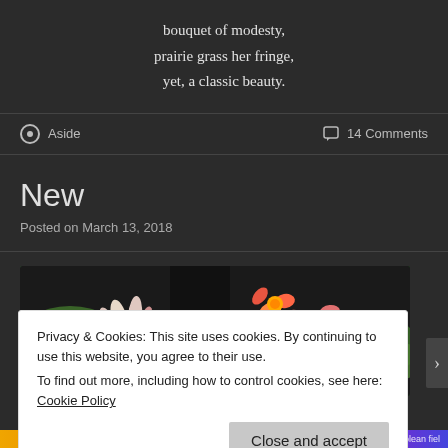bouquet of modesty,
prairie grass her fringe,
yet, a classic beauty.
Aside    14 Comments
New
Posted on March 13, 2018
[Figure (photo): Close-up photograph of honeysuckle flowers with pink, white, and orange blossoms against a dark background with green leaves]
Privacy & Cookies: This site uses cookies. By continuing to use this website, you agree to their use.
To find out more, including how to control cookies, see here: Cookie Policy
Close and accept